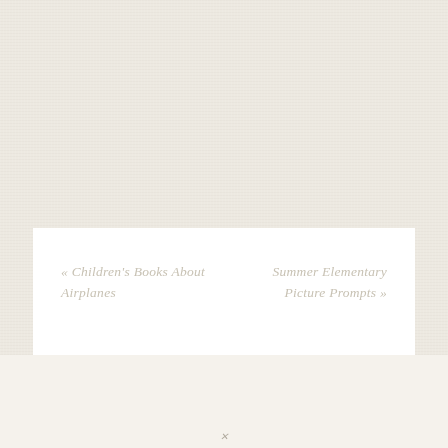« Children's Books About Airplanes
Summer Elementary Picture Prompts »